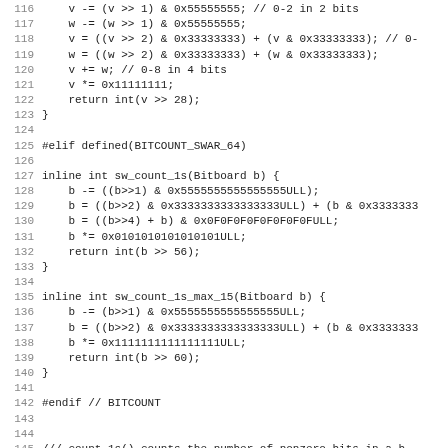Source code listing lines 116-147, showing bit counting functions in C++ including sw_count_1s and sw_count_1s_max_15 with BITCOUNT_SWAR_64 preprocessor directive.